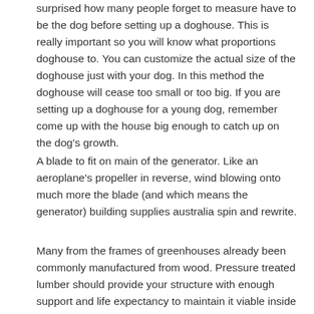surprised how many people forget to measure have to be the dog before setting up a doghouse. This is really important so you will know what proportions doghouse to. You can customize the actual size of the doghouse just with your dog. In this method the doghouse will cease too small or too big. If you are setting up a doghouse for a young dog, remember come up with the house big enough to catch up on the dog's growth.
A blade to fit on main of the generator. Like an aeroplane's propeller in reverse, wind blowing onto much more the blade (and which means the generator) building supplies australia spin and rewrite.
Many from the frames of greenhouses already been commonly manufactured from wood. Pressure treated lumber should provide your structure with enough support and life expectancy to maintain it viable inside your project. Wood has recently been one of your more popular choices staying used as flooring for the greenhouse, buildingsuppliesaustralia and check of wood